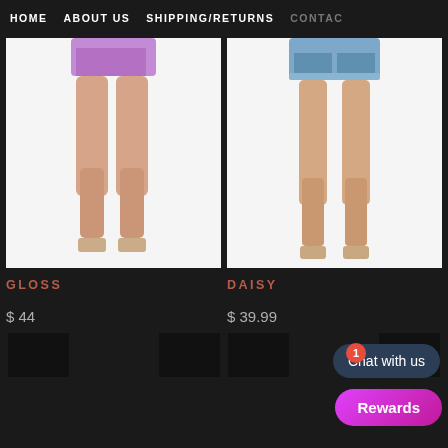HOME   ABOUT US   SHIPPING/RETURNS   CONTACT
[Figure (photo): Close-up photo of a woman's legs wearing shiny purple metallic shorts and nude heeled sandals, on white background]
[Figure (photo): Close-up photo of a woman's legs wearing blue denim cuffed shorts and nude heeled sandals, on white background]
GLOSS
DAISY
$ 44
$ 39.99